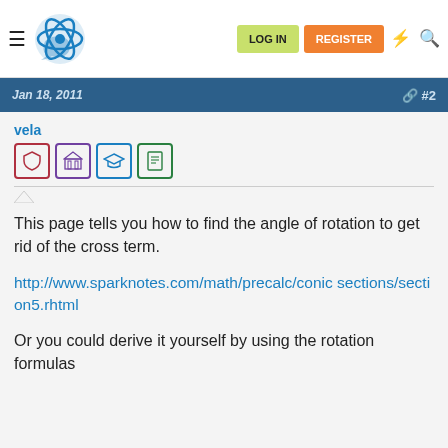Navigation bar with LOG IN and REGISTER buttons
Jan 18, 2011  #2
vela
[Figure (other): User badge icons: shield (red border), building/bank (purple border), graduation cap (blue border), document (green border)]
This page tells you how to find the angle of rotation to get rid of the cross term.
http://www.sparknotes.com/math/precalc/conicsections/section5.rhtml
Or you could derive it yourself by using the rotation formulas